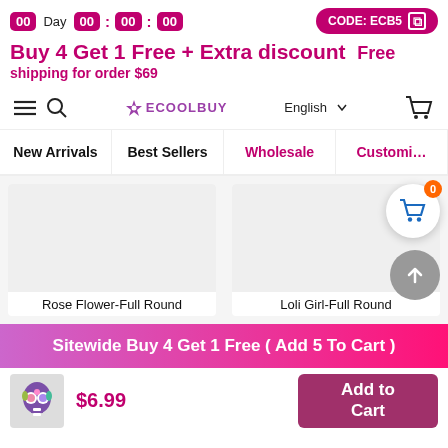00 Day 00 : 00 : 00   CODE: ECB5
Buy 4 Get 1 Free + Extra discount   Free shipping for order $69
[Figure (screenshot): E-commerce website navigation bar with hamburger menu, search icon, ECOOLBUY logo, English language selector, and shopping cart icon]
New Arrivals   Best Sellers   Wholesale   Customi…
Rose Flower-Full Round   Loli Girl-Full Round
Sitewide Buy 4 Get 1 Free ( Add 5 To Cart )
$6.99
Add to Cart